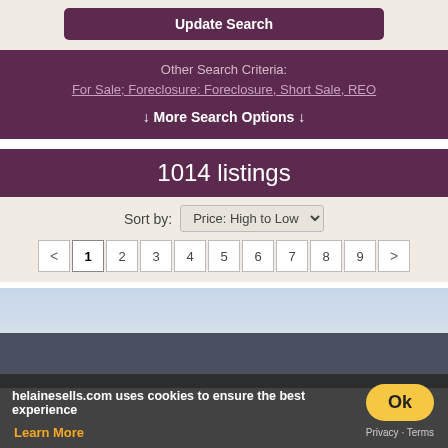Update Search
Other Search Criteria:
For Sale; Foreclosure: Foreclosure, Short Sale, REO
↓ More Search Options ↓
1014 listings
Sort by: Price: High to Low
< 1 2 3 4 5 6 7 8 9 >
[Figure (photo): Property exterior photo showing building silhouette against sky]
helainesells.com uses cookies to ensure the best experience
Ok
Learn More
Privacy • Terms